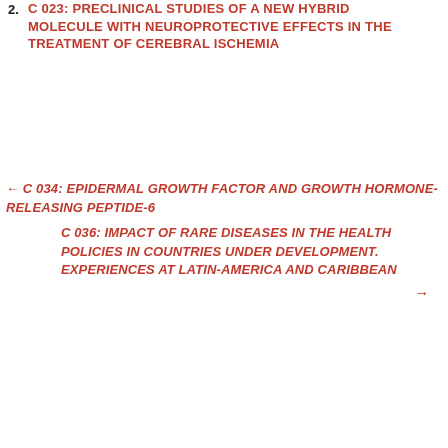2. C 023: PRECLINICAL STUDIES OF A NEW HYBRID MOLECULE WITH NEUROPROTECTIVE EFFECTS IN THE TREATMENT OF CEREBRAL ISCHEMIA
← C 034: EPIDERMAL GROWTH FACTOR AND GROWTH HORMONE-RELEASING PEPTIDE-6
C 036: IMPACT OF RARE DISEASES IN THE HEALTH POLICIES IN COUNTRIES UNDER DEVELOPMENT. EXPERIENCES AT LATIN-AMERICA AND CARIBBEAN →
Follow Us in: